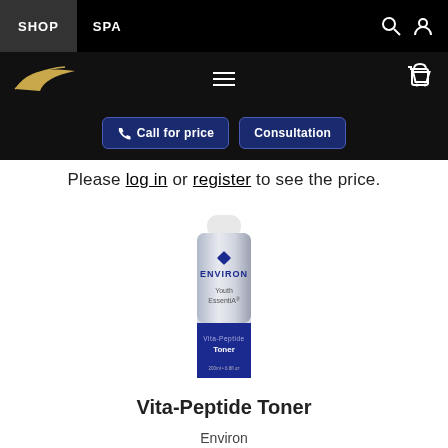SHOP  SPA
Please log in or register to see the price.
[Figure (photo): Environ Youth EssentiA Vita-Peptide Toner product bottle — white pump bottle with blue and silver label]
Vita-Peptide Toner
Environ